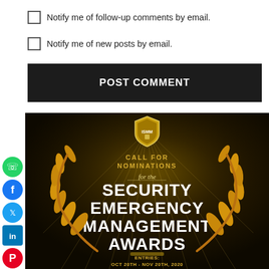Notify me of follow-up comments by email.
Notify me of new posts by email.
POST COMMENT
[Figure (illustration): Call for Nominations promotional image for the Security Emergency Management Awards with gold laurel wreath and shield logo. Entries: Oct 20th - Nov 20th, 2020]